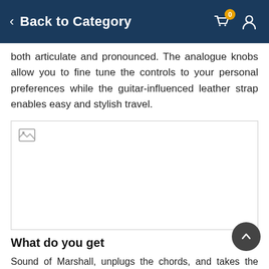Back to Category
both articulate and pronounced. The analogue knobs allow you to fine tune the controls to your personal preferences while the guitar-influenced leather strap enables easy and stylish travel.
[Figure (photo): Broken/missing image placeholder]
What do you get
Sound of Marshall, unplugs the chords, and takes the show on the road.
Weighing in under 7 pounds, the Kilburn is a lightweight piece of vintage styled engineering. Setting the bar as one of the